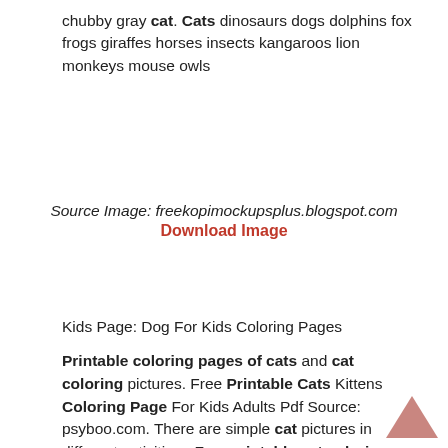chubby gray cat. Cats dinosaurs dogs dolphins fox frogs giraffes horses insects kangaroos lion monkeys mouse owls
Source Image: freekopimockupsplus.blogspot.com
Download Image
Kids Page: Dog For Kids Coloring Pages
Printable coloring pages of cats and cat coloring pictures. Free Printable Cats Kittens Coloring Page For Kids Adults Pdf Source: psyboo.com. There are simple cat pictures in different activities . Free printable cat coloring pages for kids · animal coloring pages are always fun, even more so when they are based on something as beloved as cats.